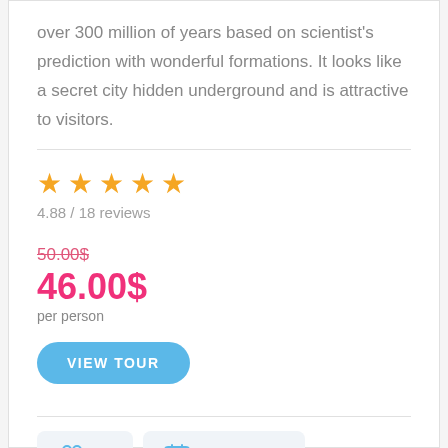over 300 million of years based on scientist's prediction with wonderful formations. It looks like a secret city hidden underground and is attractive to visitors.
4.88 / 18 reviews
50.00$
46.00$
per person
VIEW TOUR
15
Year-round